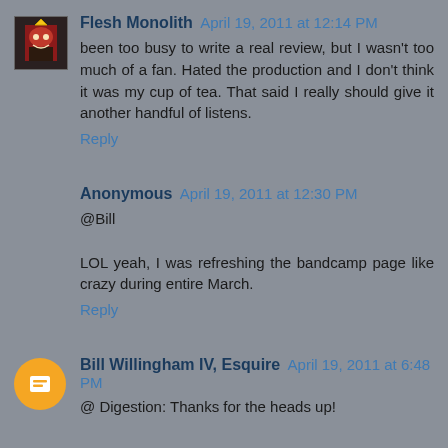Flesh Monolith  April 19, 2011 at 12:14 PM
been too busy to write a real review, but I wasn't too much of a fan. Hated the production and I don't think it was my cup of tea. That said I really should give it another handful of listens.
Reply
Anonymous  April 19, 2011 at 12:30 PM
@Bill

LOL yeah, I was refreshing the bandcamp page like crazy during entire March.
Reply
Bill Willingham IV, Esquire  April 19, 2011 at 6:48 PM
@ Digestion: Thanks for the heads up!